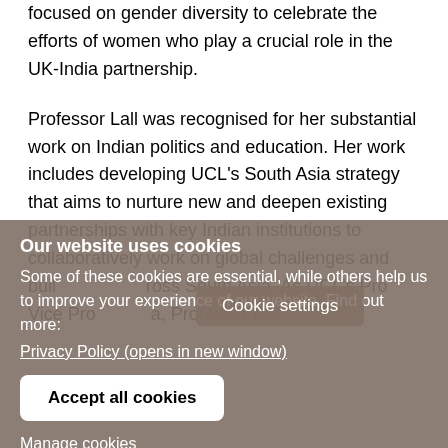focused on gender diversity to celebrate the efforts of women who play a crucial role in the UK-India partnership.
Professor Lall was recognised for her substantial work on Indian politics and education. Her work includes developing UCL's South Asia strategy that aims to nurture new and deepen existing partnerships with key Indian institutions to collaboratively work on global challenges and build… ross South Asia. As UCL's Pro Vice Pro… a, Professor Lall
Cookie settings
Our website uses cookies
Some of these cookies are essential, while others help us to improve your experience of our website. Find out more: Privacy Policy (opens in new window)
Accept all cookies
Manage cookies